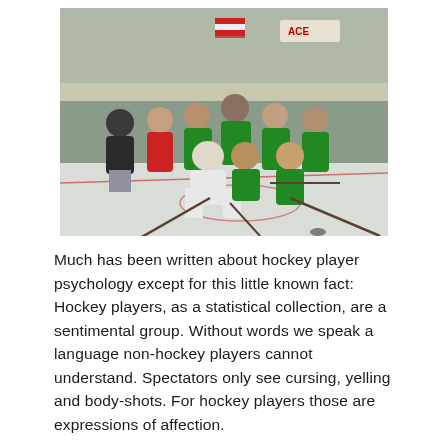[Figure (photo): Group photo of a hockey team posing on an ice rink. Players are wearing green and black jerseys, with one goalie in white gear. An American flag and an ACE Hardware sign are visible in the background.]
Much has been written about hockey player psychology except for this little known fact: Hockey players, as a statistical collection, are a sentimental group.  Without words we speak a language non-hockey players cannot understand.  Spectators only see cursing, yelling and body-shots.  For hockey players those are expressions of affection.